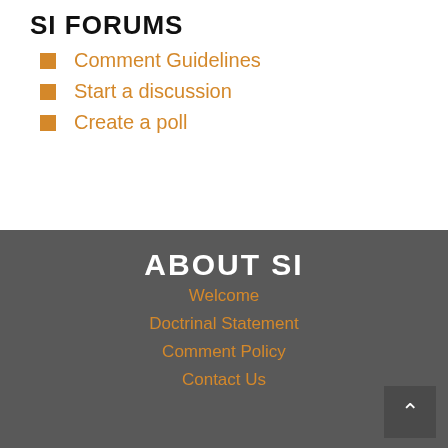SI FORUMS
Comment Guidelines
Start a discussion
Create a poll
ABOUT SI
Welcome
Doctrinal Statement
Comment Policy
Contact Us